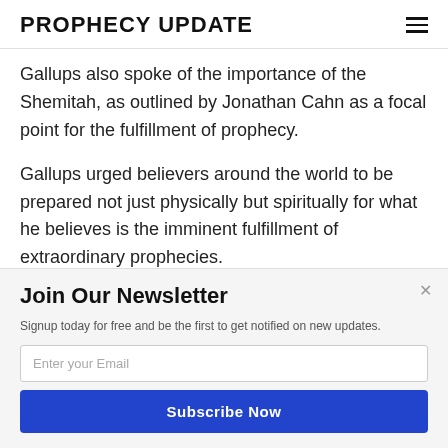PROPHECY UPDATE
Gallups also spoke of the importance of the Shemitah, as outlined by Jonathan Cahn as a focal point for the fulfillment of prophecy.
Gallups urged believers around the world to be prepared not just physically but spiritually for what he believes is the imminent fulfillment of extraordinary prophecies.
POWERED BY SUMO
Join Our Newsletter
Signup today for free and be the first to get notified on new updates.
Enter your Email
Subscribe Now